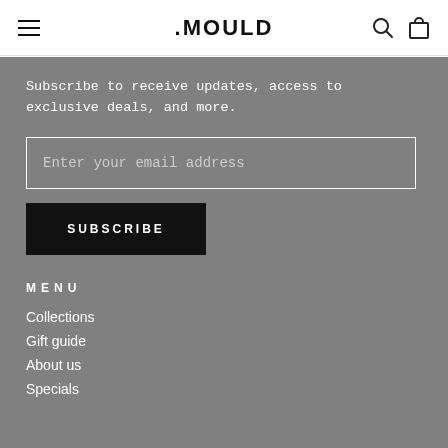≡  .MOULD  🔍 🛍
Subscribe to receive updates, access to exclusive deals, and more.
Enter your email address
SUBSCRIBE
MENU
Collections
Gift guide
About us
Specials